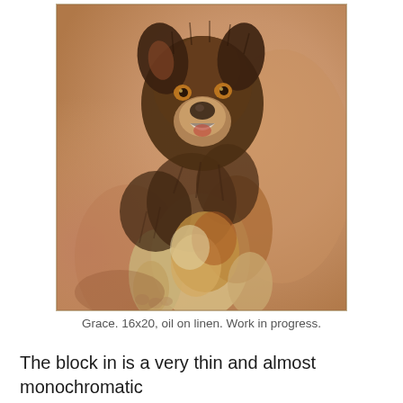[Figure (illustration): A painting of a dog named Grace. Oil on linen, 16x20 inches. Work in progress. The dog is depicted sitting, with brown and tan fur, shown against a warm beige-orange background. The style is loose and painterly.]
Grace. 16x20, oil on linen. Work in progress.
The block in is a very thin and almost monochromatic